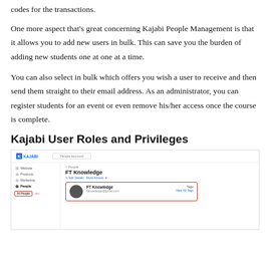codes for the transactions.
One more aspect that’s great concerning Kajabi People Management is that it allows you to add new users in bulk. This can save you the burden of adding new students one at one at a time.
You can also select in bulk which offers you wish a user to receive and then send them straight to their email address. As an administrator, you can register students for an event or even remove his/her access once the course is complete.
Kajabi User Roles and Privileges
[Figure (screenshot): Screenshot of Kajabi admin interface showing People Management with FT Knowledge user profile, sidebar with navigation items (Website, Products, Marketing, People with All People selected and highlighted in red box with arrow), and user card with Tags section visible.]